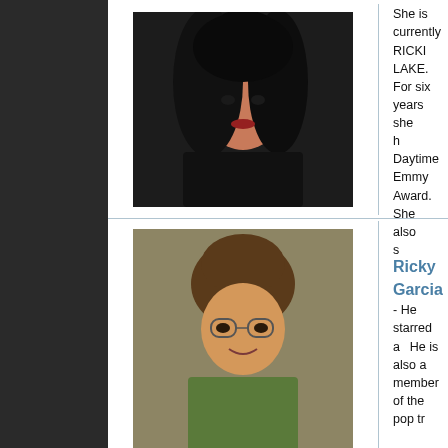[Figure (photo): Photo of Ricki Lake, woman with dark hair]
Ricki Lake - She is currently RICKI LAKE. For six years she hosted... Daytime Emmy Award. She also s...
[Figure (photo): Photo of Ricky Garcia, young man with styled hair]
Ricky Garcia - He starred a... He is also a member of the pop tr...
[Figure (photo): Photo of Rob Morrow, man in hat, black and white]
Rob Morrow - For six seaso... starred for five seasons on the... feature films THE BUCKET LIST...
[Figure (photo): Photo of Rob Riggle, man in blue shirt]
Rob Riggle - A popular cha... JUMPSTREET, THE LORAX, an... SATURDAY NIGHT LIVE.